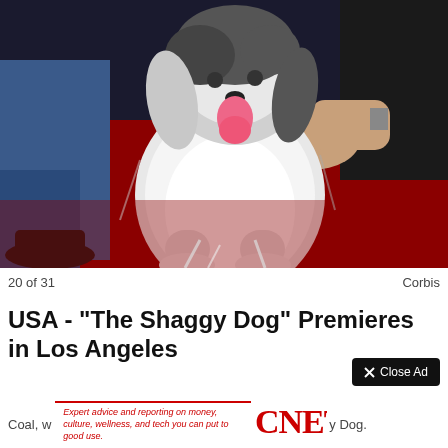[Figure (photo): A shaggy white and grey dog sitting on a red carpet, being held by a person in jeans and dark jacket. The dog has long flowing fur and its tongue is out. This is a premiere event photo.]
20 of 31
Corbis
USA - "The Shaggy Dog" Premieres in Los Angeles
Coal, w y Dog.
Expert advice and reporting on money, culture, wellness, and tech you can put to good use.
[Figure (logo): CNET logo in red bold serif letters]